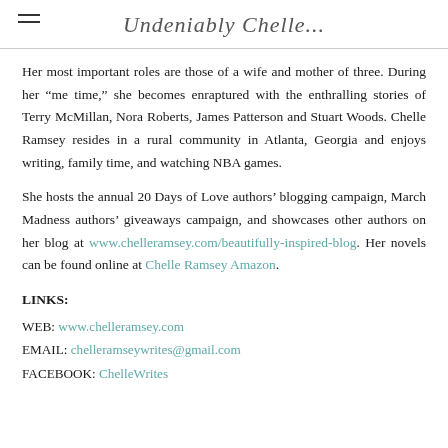Undeniably Chelle...
Her most important roles are those of a wife and mother of three. During her “me time,” she becomes enraptured with the enthralling stories of Terry McMillan, Nora Roberts, James Patterson and Stuart Woods. Chelle Ramsey resides in a rural community in Atlanta, Georgia and enjoys writing, family time, and watching NBA games.
She hosts the annual 20 Days of Love authors’ blogging campaign, March Madness authors’ giveaways campaign, and showcases other authors on her blog at www.chelleramsey.com/beautifully-inspired-blog. Her novels can be found online at Chelle Ramsey Amazon.
LINKS:
WEB: www.chelleramsey.com
EMAIL: chelleramseywrites@gmail.com
FACEBOOK: ChelleWrites